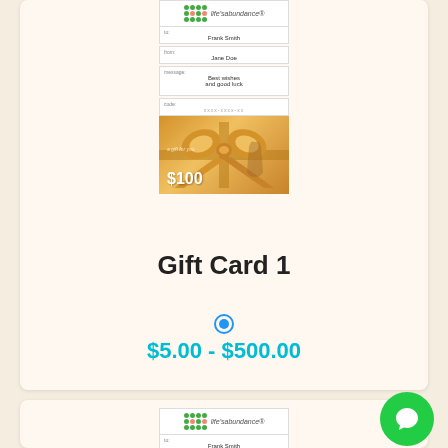[Figure (screenshot): Gift Card 1 product listing showing a gift card preview with fields for To: Frank Smith, From: Jane Doe, Message: Best wishes and good luck, and a gold gift card image showing $100. Below the image is the product title 'Gift Card 1', a radio button selector, and the price range '$5.00 - $500.00'. A second gift card listing begins at the bottom of the page.]